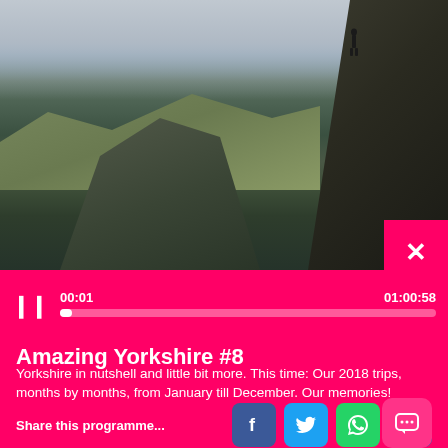[Figure (photo): Dramatic cliff landscape in Yorkshire showing rocky cliffs with a person standing on the edge, rolling hills and moorland in the background under a cloudy sky]
00:01   01:00:58
Amazing Yorkshire #8
Yorkshire in nutshell and little bit more. This time: Our 2018 trips, months by months, from January till December. Our memories!
Share this programme...